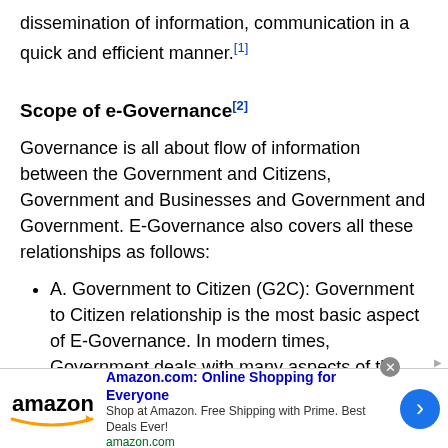dissemination of information, communication in a quick and efficient manner.[1]
Scope of e-Governance[2]
Governance is all about flow of information between the Government and Citizens, Government and Businesses and Government and Government. E-Governance also covers all these relationships as follows:
A. Government to Citizen (G2C): Government to Citizen relationship is the most basic aspect of E-Governance. In modern times, Government deals with many aspects of the life of a citizen. The relation of a citizen with the Government starts with the birth and
[Figure (other): Amazon.com advertisement banner at bottom of page. Shows Amazon logo, title 'Amazon.com: Online Shopping for Everyone', subtitle 'Shop at Amazon. Free Shipping with Prime. Best Deals Ever!', link 'amazon.com', and a blue arrow button.]